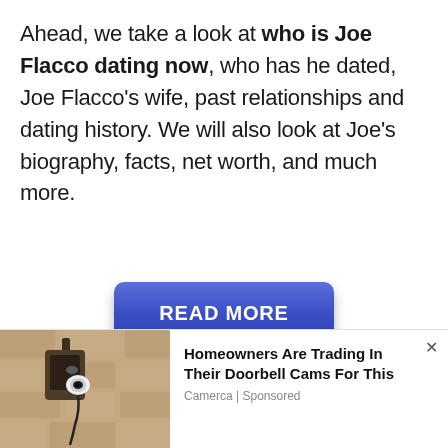Ahead, we take a look at who is Joe Flacco dating now, who has he dated, Joe Flacco's wife, past relationships and dating history. We will also look at Joe's biography, facts, net worth, and much more.
[Figure (other): Blue READ MORE button with gradient and drop shadow]
[Figure (photo): Advertisement image showing a security camera mounted on a wall]
Homeowners Are Trading In Their Doorbell Cams For This
Camerca | Sponsored